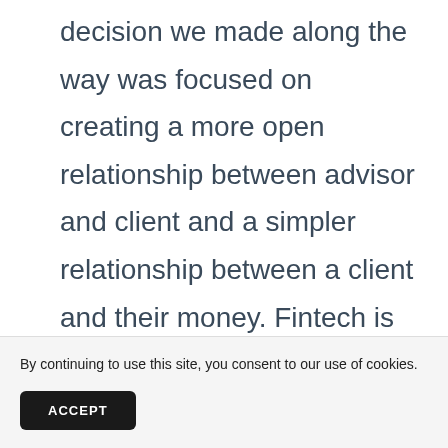decision we made along the way was focused on creating a more open relationship between advisor and client and a simpler relationship between a client and their money. Fintech is an ever-changing realm. New solutions come on the map everyday and it can be a time-consuming process to test and select an effective solution that'll last
By continuing to use this site, you consent to our use of cookies.
ACCEPT